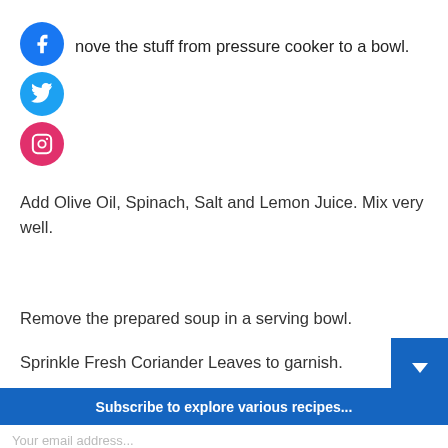[Figure (logo): Facebook circle icon (blue)]
[Figure (logo): Twitter circle icon (blue)]
[Figure (logo): Instagram circle icon (pink/red)]
nove the stuff from pressure cooker to a bowl.
Add Olive Oil, Spinach, Salt and Lemon Juice. Mix very well.
Remove the prepared soup in a serving bowl.
Sprinkle Fresh Coriander Leaves to garnish.
Subscribe to explore various recipes...
Your email address...
SUSBSCRIBE